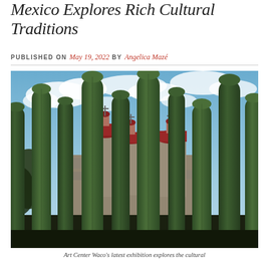Mexico Explores Rich Cultural Traditions
PUBLISHED ON May 19, 2022 by Angelica Mazé
[Figure (photo): Photograph looking upward at tall green columnar cacti with a colonial church featuring red domed towers visible behind them against a blue sky with white clouds.]
Art Center Waco's latest exhibition explores the cultural traditions of Oaxaca, Mexico